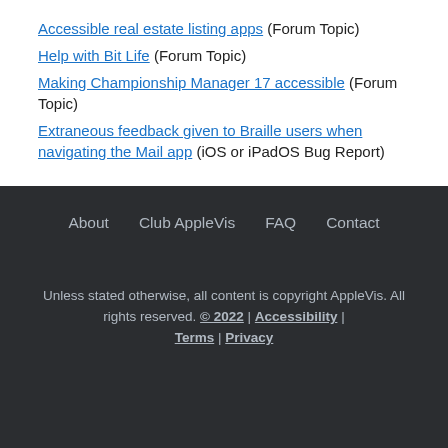Accessible real estate listing apps (Forum Topic)
Help with Bit Life (Forum Topic)
Making Championship Manager 17 accessible (Forum Topic)
Extraneous feedback given to Braille users when navigating the Mail app (iOS or iPadOS Bug Report)
About  Club AppleVis  FAQ  Contact  Unless stated otherwise, all content is copyright AppleVis. All rights reserved. © 2022 | Accessibility | Terms | Privacy